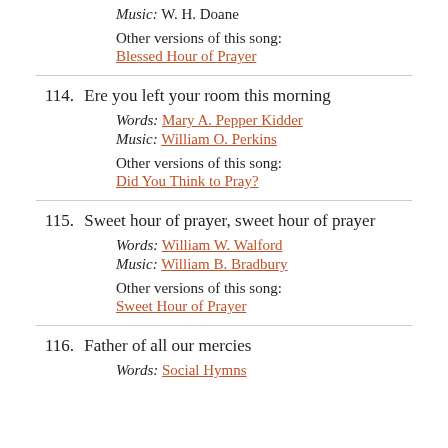Music: W. H. Doane
Other versions of this song:
Blessed Hour of Prayer
114. Ere you left your room this morning
Words: Mary A. Pepper Kidder
Music: William O. Perkins
Other versions of this song:
Did You Think to Pray?
115. Sweet hour of prayer, sweet hour of prayer
Words: William W. Walford
Music: William B. Bradbury
Other versions of this song:
Sweet Hour of Prayer
116. Father of all our mercies
Words: Social Hymns